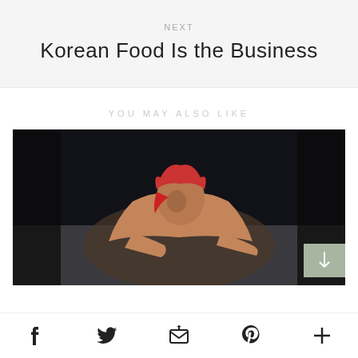NEXT
Korean Food Is the Business
YOU MAY ALSO LIKE
[Figure (photo): A woman with red hair posing on the floor looking at the camera in a dark setting]
Social share icons: Facebook, Twitter, Email, Pinterest, More